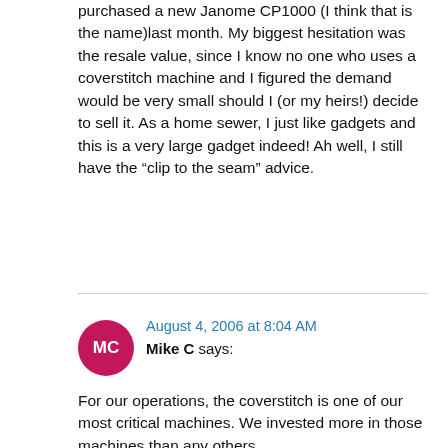purchased a new Janome CP1000 (I think that is the name)last month. My biggest hesitation was the resale value, since I know no one who uses a coverstitch machine and I figured the demand would be very small should I (or my heirs!) decide to sell it. As a home sewer, I just like gadgets and this is a very large gadget indeed! Ah well, I still have the “clip to the seam” advice.
Reply
August 4, 2006 at 8:04 AM
Mike C says:
For our operations, the coverstitch is one of our most critical machines. We invested more in those machines than any others.
We use a Juku/Union Special CS132 cylinder bed coverstitch for most operations. Its a workhorse with automatic presser foot lift and thread trimming. I once asked Amy if we could have gotten away with all the air-powered doodads on the